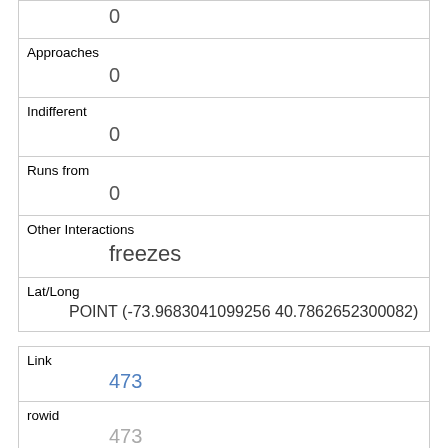| Field | Value |
| --- | --- |
| (continuation) | 0 |
| Approaches | 0 |
| Indifferent | 0 |
| Runs from | 0 |
| Other Interactions | freezes |
| Lat/Long | POINT (-73.9683041099256 40.7862652300082) |
| Field | Value |
| --- | --- |
| Link | 473 |
| rowid | 473 |
| longitude | -73.95701300171591 |
| latitude | 40.799602742862504 |
| Unique Squirrel ID |  |